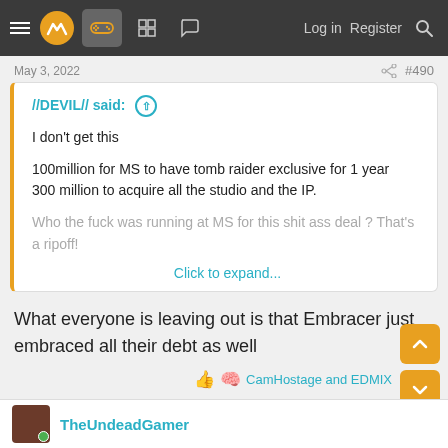Navigation bar with logo, icons, Log in, Register, Search
May 3, 2022  #490
//DEVIL// said:
I don't get this

100million for MS to have tomb raider exclusive for 1 year
300 million to acquire all the studio and the IP.

Who the fuck was running at MS for this shit ass deal ? That's a ripoff!

Click to expand...
What everyone is leaving out is that Embracer just embraced all their debt as well
CamHostage and EDMIX
TheUndeadGamer